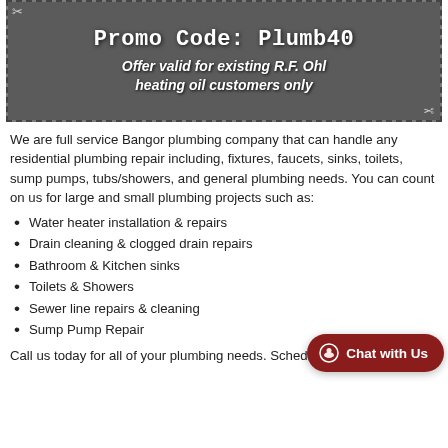[Figure (other): Coupon box with dashed border, scissors icons, showing Promo Code: Plumb40 and offer details on dark/photo background]
We are full service Bangor plumbing company that can handle any residential plumbing repair including, fixtures, faucets, sinks, toilets, sump pumps, tubs/showers, and general plumbing needs. You can count on us for large and small plumbing projects such as:
Water heater installation & repairs
Drain cleaning & clogged drain repairs
Bathroom & Kitchen sinks
Toilets & Showers
Sewer line repairs & cleaning
Sump Pump Repair
Call us today for all of your plumbing needs. Schedule now.